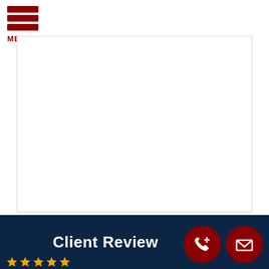[Figure (other): Hamburger menu icon with three dark red horizontal bars and MENU label below]
[Figure (other): White content area box with light border]
Client Review
[Figure (other): Dark red circular phone icon button]
[Figure (other): Dark red circular email/envelope icon button]
[Figure (other): Gold star rating icons partially visible at bottom]